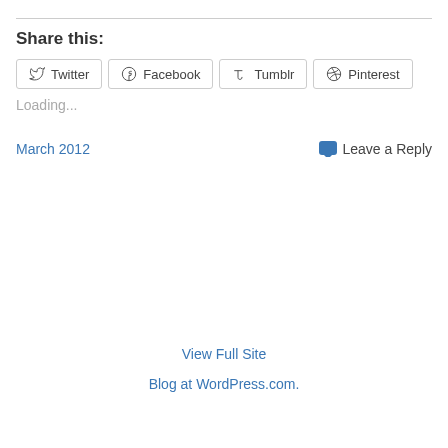Share this:
Twitter  Facebook  Tumblr  Pinterest
Loading...
March 2012
Leave a Reply
View Full Site
Blog at WordPress.com.